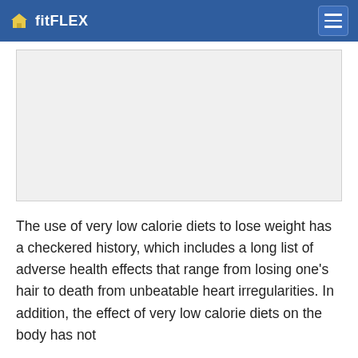fitFLEX
[Figure (photo): Large image placeholder with light gray background]
The use of very low calorie diets to lose weight has a checkered history, which includes a long list of adverse health effects that range from losing one's hair to death from unbeatable heart irregularities. In addition, the effect of very low calorie diets on the body has not